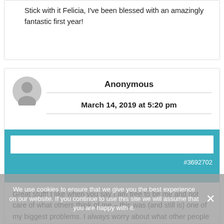Stick with it Felicia, I've been blessed with an amazingly fantastic first year!
Anonymous
March 14, 2019 at 5:20 pm
#3692702
Great stuff! I like when you say I am free to be me and not care of what others think of me – this was (and still is) one of my biggest problems. I always worry about what other people think of me – but the longer I stay sober, the less I worry of what other people think of me – perhaps I am getting a bit of respect for myself, finally!
We use cookies to ensure that we give you the best experience on our website. If you continue to use this site we will assume that you are happy with it.